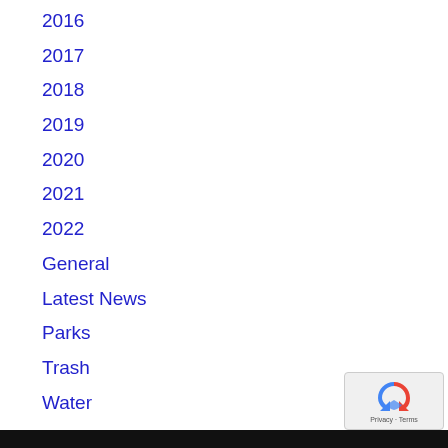2016
2017
2018
2019
2020
2021
2022
General
Latest News
Parks
Trash
Water
[Figure (logo): Google reCAPTCHA badge with recycling-arrow icon and Privacy · Terms text]